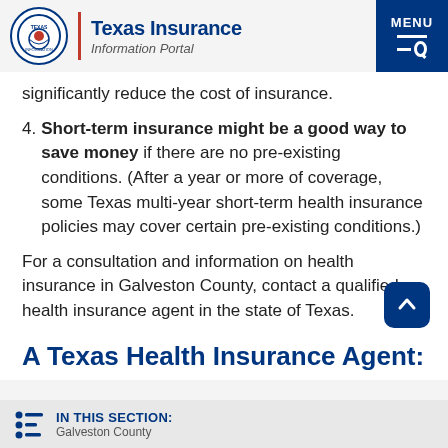Texas Insurance Information Portal
significantly reduce the cost of insurance.
4. Short-term insurance might be a good way to save money if there are no pre-existing conditions. (After a year or more of coverage, some Texas multi-year short-term health insurance policies may cover certain pre-existing conditions.)
For a consultation and information on health insurance in Galveston County, contact a qualified health insurance agent in the state of Texas.
A Texas Health Insurance Agent:
IN THIS SECTION: Galveston County